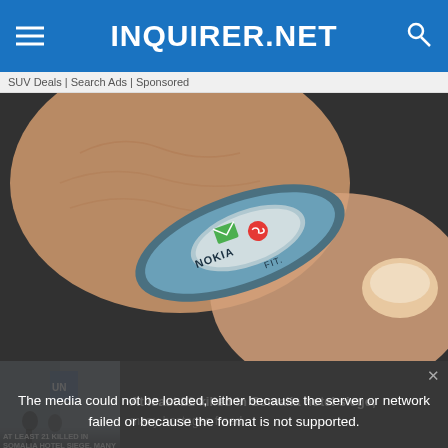INQUIRER.NET
SUV Deals | Search Ads | Sponsored
[Figure (photo): Close-up photo of a Nokia FIT ring/wearable device being worn on a finger, showing a green envelope icon and red phone icon on the device surface, against a dark textured background.]
The media could not be loaded, either because the server or network failed or because the format is not supported.
At least 21 killed in Somalia hotel siege, many hostages freed
AT LEAST 21 KILLED IN SOMALIA HOTEL SIEGE, MANY HOSTAGES FREED